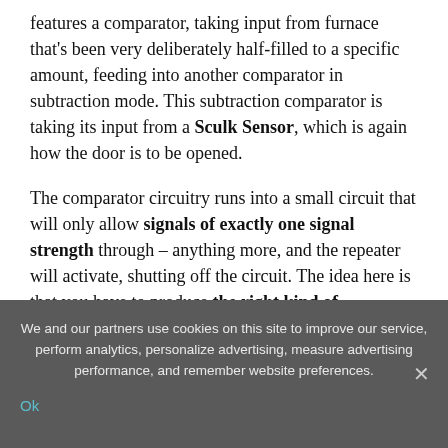features a comparator, taking input from furnace that's been very deliberately half-filled to a specific amount, feeding into another comparator in subtraction mode. This subtraction comparator is taking its input from a Sculk Sensor, which is again how the door is to be opened.
The comparator circuitry runs into a small circuit that will only allow signals of exactly one signal strength through – anything more, and the repeater will activate, shutting off the circuit. The idea here is that you have to produce the right kind of
We and our partners use cookies on this site to improve our service, perform analytics, personalize advertising, measure advertising performance, and remember website preferences.
Ok